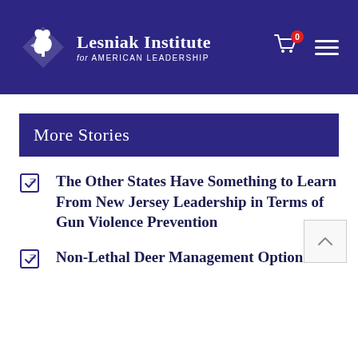[Figure (logo): Lesniak Institute for American Leadership logo with stylized horse head icon, white on dark purple/navy background, with shopping cart icon showing 0 items and hamburger menu]
More Stories
The Other States Have Something to Learn From New Jersey Leadership in Terms of Gun Violence Prevention
Non-Lethal Deer Management Options